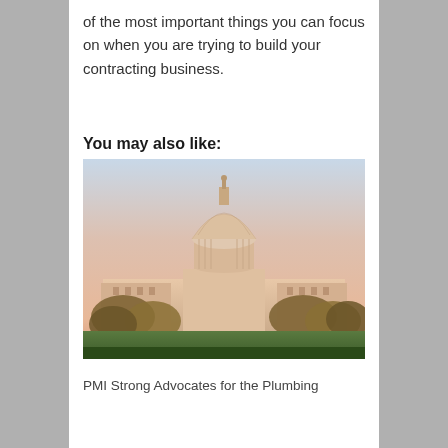of the most important things you can focus on when you are trying to build your contracting business.
You may also like:
[Figure (photo): Photograph of the United States Capitol building at dusk or sunset, with warm pink and peach sky tones, trees in foreground]
PMI Strong Advocates for the Plumbing